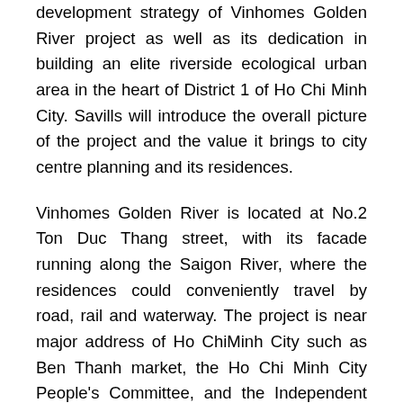development strategy of Vinhomes Golden River project as well as its dedication in building an elite riverside ecological urban area in the heart of District 1 of Ho Chi Minh City. Savills will introduce the overall picture of the project and the value it brings to city centre planning and its residences.
Vinhomes Golden River is located at No.2 Ton Duc Thang street, with its facade running along the Saigon River, where the residences could conveniently travel by road, rail and waterway. The project is near major address of Ho ChiMinh City such as Ben Thanh market, the Ho Chi Minh City People’s Committee, and the Independent Palace. Especially when the Ben Thanh- Suoi Tien metro line is completed, with station No.3 right inside the project, Vinhomes Golden River is uninterruptedly connected with Vinhomes Central Park, creating a brand